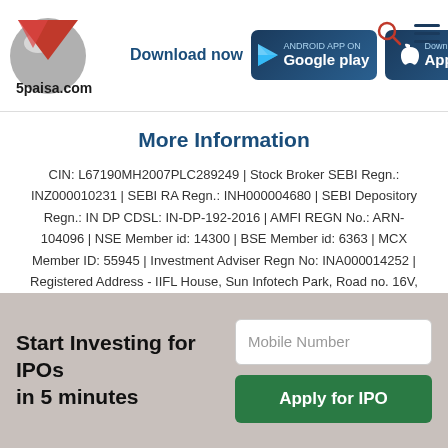5paisa.com
[Figure (logo): 5paisa.com logo with red and grey graphic]
Download now
[Figure (other): Google Play store badge]
[Figure (other): Apple App Store badge]
More Information
CIN: L67190MH2007PLC289249 | Stock Broker SEBI Regn.: INZ000010231 | SEBI RA Regn.: INH000004680 | SEBI Depository Regn.: IN DP CDSL: IN-DP-192-2016 | AMFI REGN No.: ARN-104096 | NSE Member id: 14300 | BSE Member id: 6363 | MCX Member ID: 55945 | Investment Adviser Regn No: INA000014252 | Registered Address - IIFL House, Sun Infotech Park, Road no. 16V, Plot no. B-23, MIDC, Thane Industrial Area, Waghle Estate, Thane,
Start Investing for IPOs in 5 minutes
Mobile Number
Apply for IPO